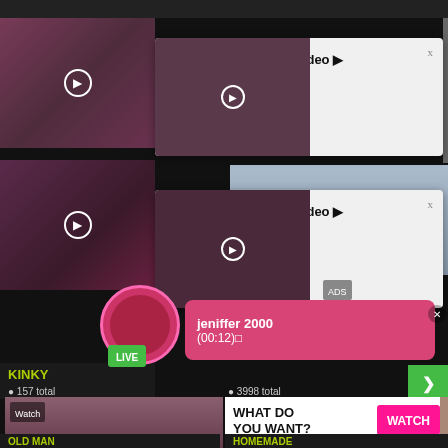[Figure (screenshot): Adult website screenshot showing video thumbnails with notification popups saying 'Mary (21) sent you a video' with Watch links, a LIVE chat notification from 'jeniffer 2000', and an advertisement panel with 'WHAT DO YOU WANT?' text and WATCH button, Online status, thumbnail images, and text 'Cumming, ass fucking, squirt or...' with ADS label]
GROUP
189 total
Mary (21) sent you a video ▶
Watch
Mary (21) sent you a video ▶
Watch
ADS
jeniffer 2000
(00:12)
LIVE
KINKY
157 total
3998 total
WHAT DO YOU WANT?
WATCH
Online
Cumming, ass fucking, squirt or...
• ADS
OLD MAN
HOMEMADE